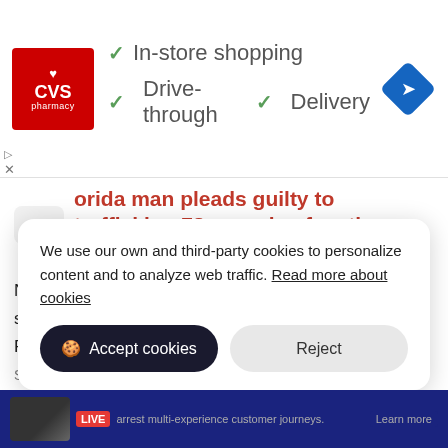[Figure (screenshot): CVS Pharmacy advertisement banner showing logo and store features: In-store shopping, Drive-through, Delivery with green checkmarks and a blue navigation icon]
orida man pleads guilty to trafficking 78 pounds of meth - WKMG...
Nichols James Imhoff faces mandatory minimum sentence of 10 years in prison. Associated Press. Published: September 9, 2020 3:06 pm ...
Source: www.clickorlando.com
We use our own and third-party cookies to personalize content and to analyze web traffic. Read more about cookies